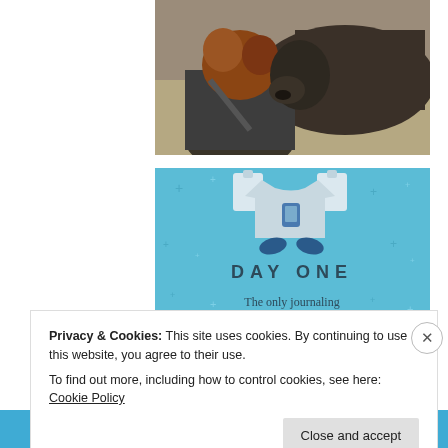[Figure (photo): A person with curly reddish-brown hair, wearing a dark jacket with a bag strap, facing away from camera, close to a dark-colored horse or donkey. The animal is facing toward the person. Dry grassy ground visible.]
[Figure (illustration): Advertisement banner on light blue background with sparkle dots pattern. Shows a gray t-shirt with a phone icon, two clipboard shapes at top corners, a dark blue device/phone held in hands below the shirt. Text reads 'DAY ONE' in spaced caps, followed by 'The only journaling app you'll ever need.']
Privacy & Cookies: This site uses cookies. By continuing to use this website, you agree to their use.
To find out more, including how to control cookies, see here: Cookie Policy
Close and accept
Follow ...